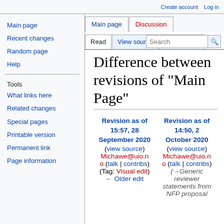Create account   Log in
Main page   Discussion   Read   View source   View history   Search
Difference between revisions of "Main Page"
Main page
Recent changes
Random page
Help
Tools
What links here
Related changes
Special pages
Printable version
Permanent link
Page information
| Revision as of 15:57, 28 September 2020 | Revision as of 14:50, 2 October 2020 |
| --- | --- |
| (view source) | (view source) |
| Michawe@uio.no (talk | contribs) | Michawe@uio.no (talk | contribs) |
| (Tag: Visual edit) | (→Generic reviewer statements from NFP proposal |
| ← Older edit |  |